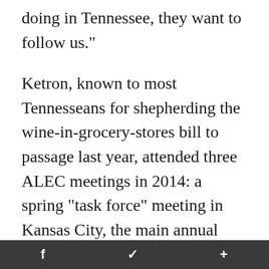doing in Tennessee, they want to follow us."
Ketron, known to most Tennesseans for shepherding the wine-in-grocery-stores bill to passage last year, attended three ALEC meetings in 2014: a spring "task force" meeting in Kansas City, the main annual meeting in Dallas last summer, and the policy summit in Washington on Dec. 2-6.
ALEC is one of several national and regional organizations whose meetings are attended by Tennessee lawmakers. Others include the NCSL, Council of State Governments,
f   🐦   +